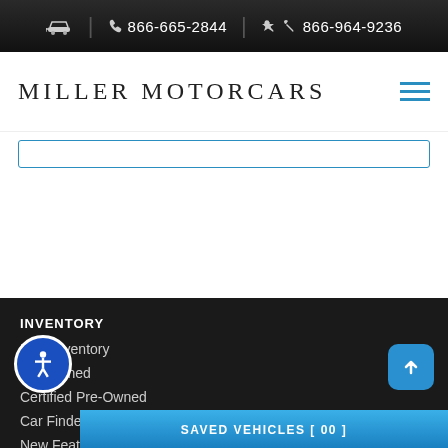866-665-2844  866-964-9236
MILLER MOTORCARS
INVENTORY
New Inventory
Pre-Owned
Certified Pre-Owned
Car Finder
New Featured Inventory
Value Your Trade
Quick Quote
SAVED VEHICLES [ 00 ]